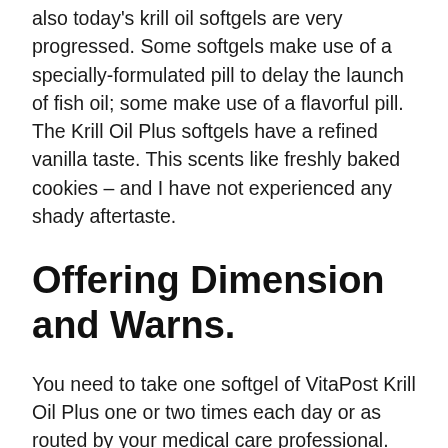also today's krill oil softgels are very progressed. Some softgels make use of a specially-formulated pill to delay the launch of fish oil; some make use of a flavorful pill. The Krill Oil Plus softgels have a refined vanilla taste. This scents like freshly baked cookies – and I have not experienced any shady aftertaste.
Offering Dimension and Warns.
You need to take one softgel of VitaPost Krill Oil Plus one or two times each day or as routed by your medical care professional. Depending on how many capsules you take each day, one container can last one to 2